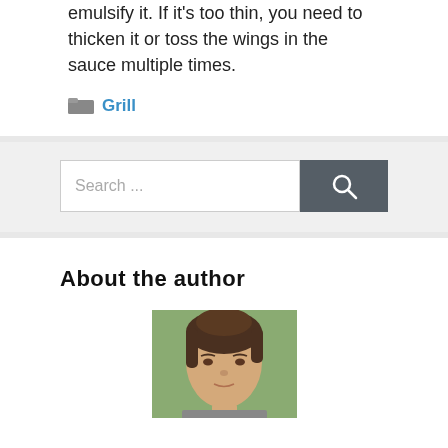emulsify it. If it's too thin, you need to thicken it or toss the wings in the sauce multiple times.
Grill
[Figure (screenshot): Search bar with text input field showing placeholder 'Search ...' and a dark gray search button with magnifying glass icon]
About the author
[Figure (photo): Headshot photo of a young woman with dark brown hair, light skin, looking at the camera, with a blurred outdoor background]